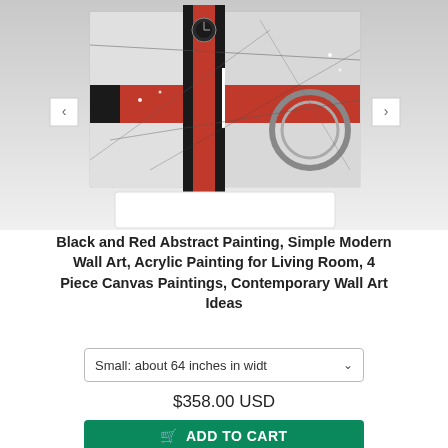[Figure (photo): Abstract multi-panel canvas painting with black, red, and white geometric and circular motifs. Navigation arrows on left and right sides. Thumbnail strip at bottom of image area.]
Black and Red Abstract Painting, Simple Modern Wall Art, Acrylic Painting for Living Room, 4 Piece Canvas Paintings, Contemporary Wall Art Ideas
Small: about 64 inches in width
$358.00 USD
ADD TO CART